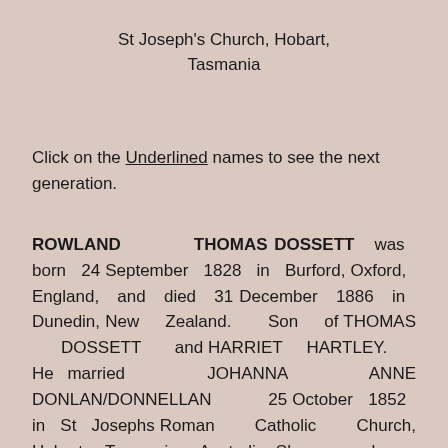St Joseph's Church, Hobart, Tasmania
Click on the Underlined names to see the next generation.
ROWLAND THOMAS DOSSETT was born 24 September 1828 in Burford, Oxford, England, and died 31 December 1886 in Dunedin, New Zealand. Son of THOMAS DOSSETT and HARRIET HARTLEY. He married JOHANNA ANNE DONLAN/DONNELLAN 25 October 1852 in St Josephs Roman Catholic Church, Hobart, Tasmania, Australia. She was born Abt. 1832 in